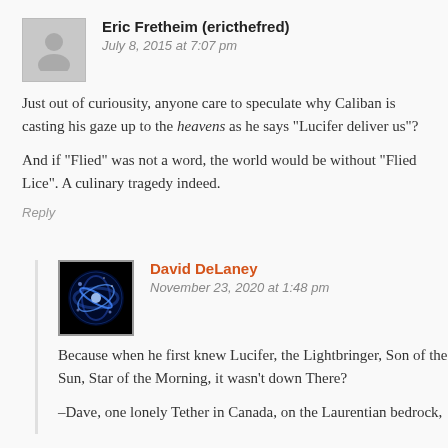Eric Fretheim (ericthefred)
July 8, 2015 at 7:07 pm
Just out of curiousity, anyone care to speculate why Caliban is casting his gaze up to the heavens as he says “Lucifer deliver us”?
And if “Flied” was not a word, the world would be without “Flied Lice”. A culinary tragedy indeed.
Reply
David DeLaney
November 23, 2020 at 1:48 pm
Because when he first knew Lucifer, the Lightbringer, Son of the Sun, Star of the Morning, it wasn’t down There?
–Dave, one lonely Tether in Canada, on the Laurentian bedrock,